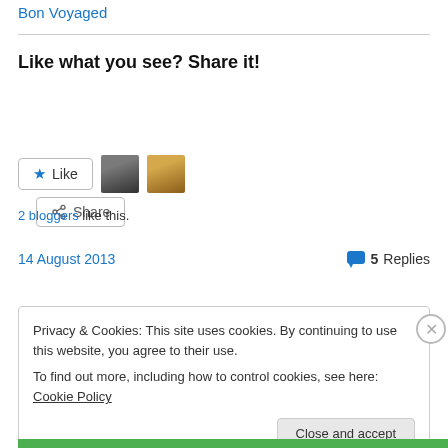Bon Voyaged
Like what you see? Share it!
Share (button)
Like (button) — 2 bloggers like this.
14 August 2013   5 Replies
Privacy & Cookies: This site uses cookies. By continuing to use this website, you agree to their use.
To find out more, including how to control cookies, see here: Cookie Policy
Close and accept